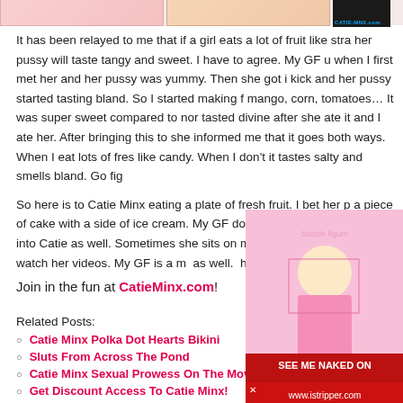[Figure (photo): Top banner images showing partial photos and a dark logo/watermark on the right]
It has been relayed to me that if a girl eats a lot of fruit like stra her pussy will taste tangy and sweet. I have to agree. My GF u when I first met her and her pussy was yummy. Then she got i kick and her pussy started tasting bland. So I started making f mango, corn, tomatoes… It was super sweet compared to nor tasted divine after she ate it and I ate her. After bringing this to she informed me that it goes both ways. When I eat lots of fres like candy. When I don't it tastes salty and smells bland. Go fig
So here is to Catie Minx eating a plate of fresh fruit. I bet her p a piece of cake with a side of ice cream. My GF doesn't mind because she is into Catie as well. Sometimes she sits on me f rides me while we watch her videos. My GF is a m as well. happy family.
Join in the fun at CatieMinx.com!
Related Posts:
Catie Minx Polka Dot Hearts Bikini
Sluts From Across The Pond
Catie Minx Sexual Prowess On The Move
Get Discount Access To Catie Minx!
[Figure (photo): Blonde woman in pink bikini advertisement for istripper.com with red banner saying SEE ME NAKED ON www.istripper.com]